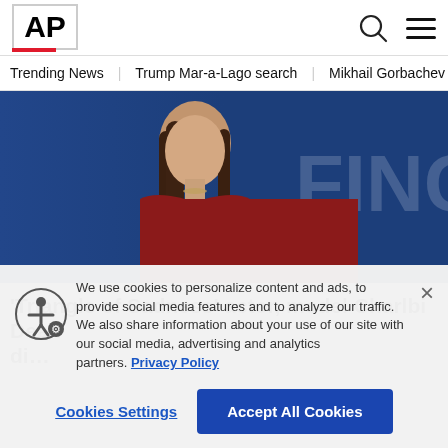AP
Trending News   Trump Mar-a-Lago search   Mikhail Gorbachev d
[Figure (photo): Woman with long brown hair wearing a dark red blazer, photographed in front of a blue background with partial text reading 'FINC']
'Triangle of Sadness' actor, model Charlbi Dean di...
We use cookies to personalize content and ads, to provide social media features and to analyze our traffic. We also share information about your use of our site with our social media, advertising and analytics partners. Privacy Policy
Cookies Settings   Accept All Cookies